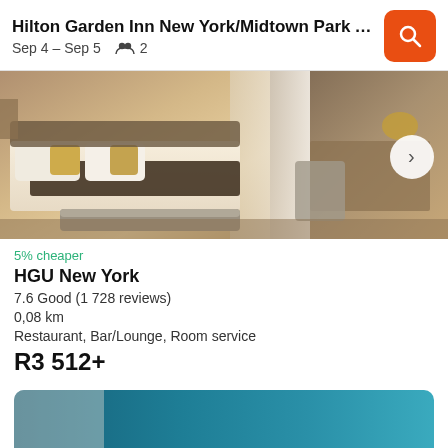Hilton Garden Inn New York/Midtown Park A... Sep 4 – Sep 5  2
[Figure (photo): Hotel room photo showing a large bed with decorative pillows and dark fur throw, a tufted bench at the foot of the bed, sheer curtains, and a wooden desk with chair on the right side]
5% cheaper
HGU New York
7.6 Good (1 728 reviews)
0,08 km
Restaurant, Bar/Lounge, Room service
R3 512+
Cheapest
See cheapest stays in New York
[Figure (photo): Partial hotel room photo with teal/blue tones visible at the bottom of the page]